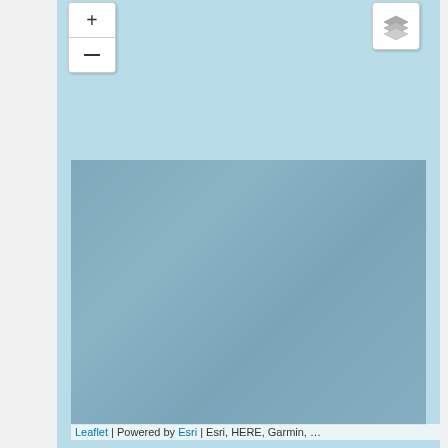[Figure (map): A Leaflet web map showing a light blue ocean/water area. The map has zoom controls (plus and minus buttons) in the upper left, and a layers toggle button in the upper right. The map tile shows a bluish-gray ocean/sea area. At the bottom is an attribution bar reading: Leaflet | Powered by Esri | Esri, HERE, Garmin, ...]
Leaflet | Powered by Esri | Esri, HERE, Garmin, ...